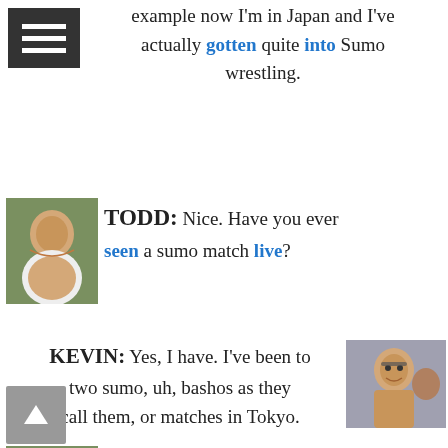[Figure (other): Hamburger menu icon button, dark background with three white horizontal lines]
example now I'm in Japan and I've actually gotten quite into Sumo wrestling.
[Figure (photo): Photo of Todd, a smiling man outdoors]
TODD: Nice. Have you ever seen a sumo match live?
KEVIN: Yes, I have. I've been to two sumo, uh, bashos as they call them, or matches in Tokyo.
[Figure (photo): Photo of Kevin, a man with glasses smiling]
[Figure (photo): Photo of Todd, a smiling man outdoors]
TODD: Nice. Yeah, I wanna go, I wanna go myself.
[Figure (other): Scroll-to-top button with upward arrow, grey background]